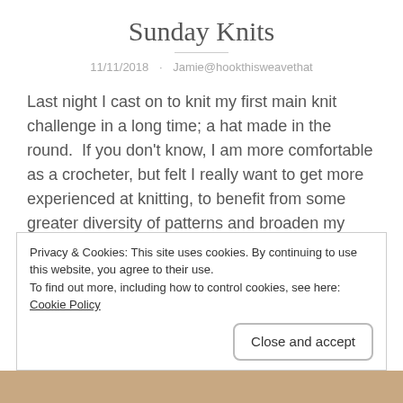Sunday Knits
11/11/2018 · Jamie@hookthisweavethat
Last night I cast on to knit my first main knit challenge in a long time; a hat made in the round.  If you don't know, I am more comfortable as a crocheter, but felt I really want to get more experienced at knitting, to benefit from some greater diversity of patterns and broaden my skill set.
Privacy & Cookies: This site uses cookies. By continuing to use this website, you agree to their use.
To find out more, including how to control cookies, see here: Cookie Policy
Close and accept